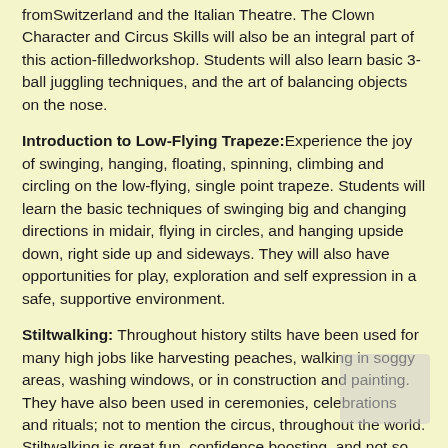fromSwitzerland and the Italian Theatre. The Clown Character and Circus Skills will also be an integral part of this action-filledworkshop. Students will also learn basic 3-ball juggling techniques, and the art of balancing objects on the nose.
Introduction to Low-Flying Trapeze: Experience the joy of swinging, hanging, floating, spinning, climbing and circling on the low-flying, single point trapeze. Students will learn the basic techniques of swinging big and changing directions in midair, flying in circles, and hanging upside down, right side up and sideways. They will also have opportunities for play, exploration and self expression in a safe, supportive environment.
Stiltwalking: Throughout history stilts have been used for many high jobs like harvesting peaches, walking in soggy areas, washing windows, or in construction and painting. They have also been used in ceremonies, celebrations and rituals; not to mention the circus, throughout the world. Stiltwalking is great fun, confidence boosting, and not so hard to learn . It's quite like riding a bike, once you've succesfully found the balance point you're on your way. In stilt class students will learn to get up on stilts, walk, dance, stand still, and fall safely.